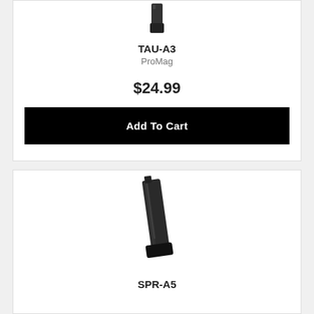[Figure (photo): Partial product image of a firearm magazine (TAU-A3) at the top of the first card, cropped at the top]
TAU-A3
ProMag
$24.99
Add To Cart
[Figure (photo): Product image of a firearm magazine (SPR-A5), tall slender black magazine with base plate]
SPR-A5